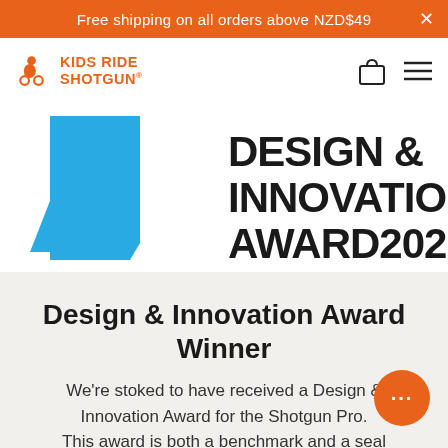Free shipping on all orders above NZD$49
[Figure (logo): Kids Ride Shotgun logo with orange text and icon, shopping bag icon and hamburger menu on right]
[Figure (logo): Design & Innovation Award 2022 logo with blue geometric triangle shape on left and bold black text on right]
Design & Innovation Award Winner
We're stoked to have received a Design & Innovation Award for the Shotgun Pro. This award is both a benchmark and a seal of approval for the most outstanding